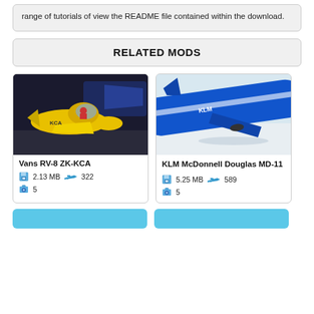range of tutorials of view the README file contained within the download.
RELATED MODS
[Figure (photo): Yellow Vans RV-8 ZK-KCA aircraft in a dark hangar environment]
Vans RV-8 ZK-KCA
2.13 MB  322
5
[Figure (photo): KLM McDonnell Douglas MD-11 blue aircraft wing and fuselage close-up]
KLM McDonnell Douglas MD-11
5.25 MB  589
5